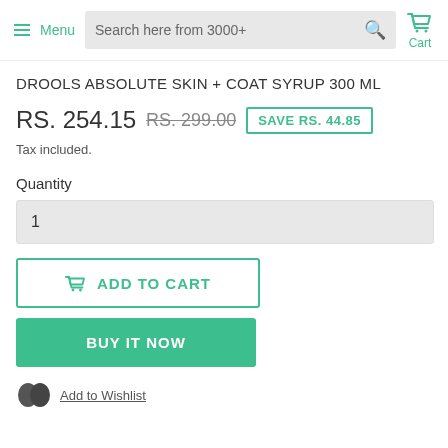Menu | Search here from 3000+ | Cart
DROOLS ABSOLUTE SKIN + COAT SYRUP 300 ML
RS. 254.15  RS. 299.00  SAVE RS. 44.85
Tax included.
Quantity
1
ADD TO CART
BUY IT NOW